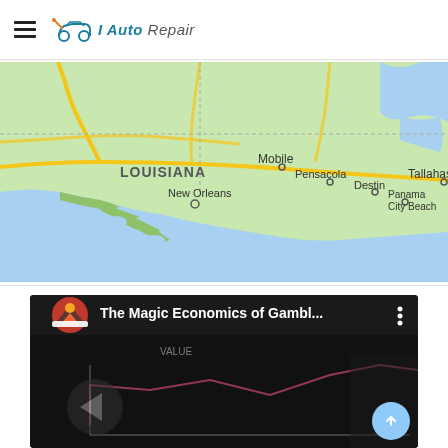I Auto Repair
[Figure (map): Google Maps screenshot showing the Gulf Coast region including Louisiana (with New Orleans marked), Mobile, Pensacola, Destin, Panama City Beach, and Tallahassee. The map shows the Gulf of Mexico coastline in blue and land in green.]
[Figure (screenshot): YouTube video thumbnail showing 'The Magic Economics of Gambl...' with a YouTube logo icon on the left and a three-dot menu icon on the right. The video content shows a dark economics-themed graphic.]